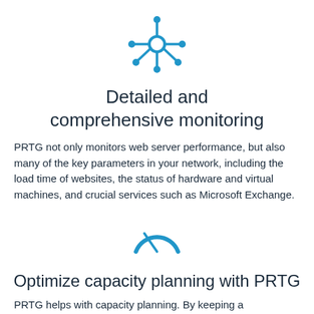[Figure (logo): Blue network/hub icon with a central circle and six radiating spokes ending in circles]
Detailed and comprehensive monitoring
PRTG not only monitors web server performance, but also many of the key parameters in your network, including the load time of websites, the status of hardware and virtual machines, and crucial services such as Microsoft Exchange.
[Figure (illustration): Blue speedometer/gauge icon showing a needle pointing to around 10 o'clock position]
Optimize capacity planning with PRTG
PRTG helps with capacity planning. By keeping a